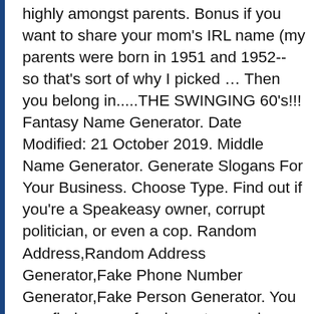highly amongst parents. Bonus if you want to share your mom's IRL name (my parents were born in 1951 and 1952-- so that's sort of why I picked … Then you belong in.....THE SWINGING 60's!!! Fantasy Name Generator. Date Modified: 21 October 2019. Middle Name Generator. Generate Slogans For Your Business. Choose Type. Find out if you're a Speakeasy owner, corrupt politician, or even a cop. Random Address,Random Address Generator,Fake Phone Number Generator,Fake Person Generator. You can find names for characters and babies from different backgrounds including searching by country, religion and name popularity by birth year. If you're wondering which words to use, think about which products you are selling. Denise and Dennis, Donna and Donald — these are the names of today's grandmas and grandpas, not quite baby-ready for another generation. For instance, if you sell yoga mats in your wellness boutique, utilizing a slogan generator can be as simple as